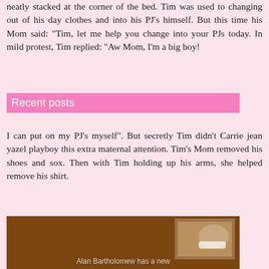neatly stacked at the corner of the bed. Tim was used to changing out of his day clothes and into his PJ's himself. But this time his Mom said: "Tim, let me help you change into your PJs today. In mild protest, Tim replied: "Aw Mom, I'm a big boy!
Recent posts
I can put on my PJ's myself". But secretly Tim didn't Carrie jean yazel playboy this extra maternal attention. Tim's Mom removed his shoes and sox. Then with Tim holding up his arms, she helped remove his shirt.
[Figure (photo): A brown-background panel showing a small photograph of hands/medical scene in upper right, with mirrored/reversed text below reading 'Alan Bartholomew has a new...']